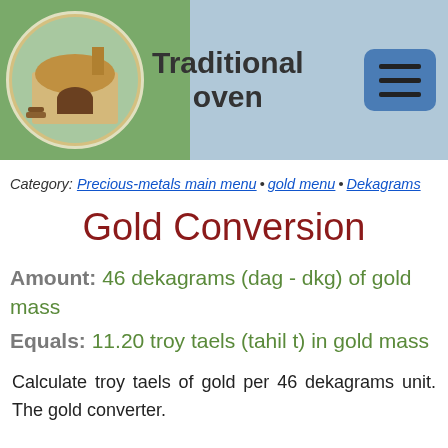Traditional oven
Category: Precious-metals main menu • gold menu • Dekagrams
Gold Conversion
Amount: 46 dekagrams (dag - dkg) of gold mass
Equals: 11.20 troy taels (tahil t) in gold mass
Calculate troy taels of gold per 46 dekagrams unit. The gold converter.